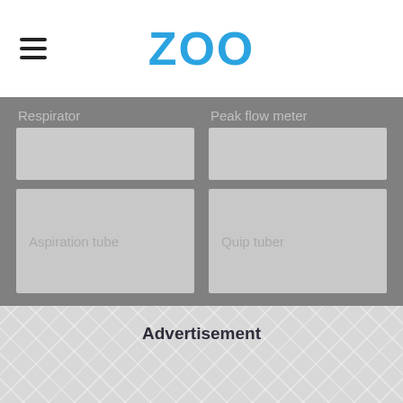ZOO
Respirator
Peak flow meter
Aspiration tube
Quip tuber
Advertisement